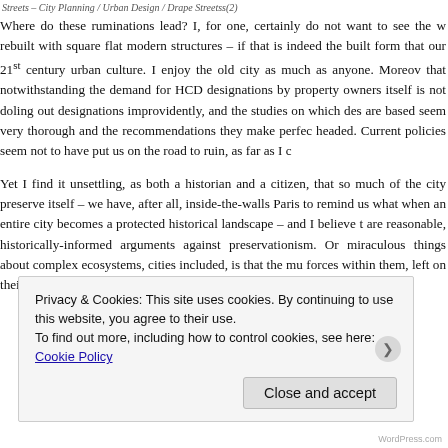Streets – City Planning / Urban Design / Drape Streetss(2)
Where do these ruminations lead? I, for one, certainly do not want to see the w rebuilt with square flat modern structures – if that is indeed the built form that our 21st century urban culture. I enjoy the old city as much as anyone. Moreov that notwithstanding the demand for HCD designations by property owners itself is not doling out designations improvidently, and the studies on which des are based seem very thorough and the recommendations they make perfec headed. Current policies seem not to have put us on the road to ruin, as far as I c
Yet I find it unsettling, as both a historian and a citizen, that so much of the city preserve itself – we have, after all, inside-the-walls Paris to remind us what when an entire city becomes a protected historical landscape – and I believe t are reasonable, historically-informed arguments against preservationism. Or miraculous things about complex ecosystems, cities included, is that the mu forces within them, left on their own,  seem capable of finding their own Pe
Privacy & Cookies: This site uses cookies. By continuing to use this website, you agree to their use.
To find out more, including how to control cookies, see here: Cookie Policy
Close and accept
WordPress.com